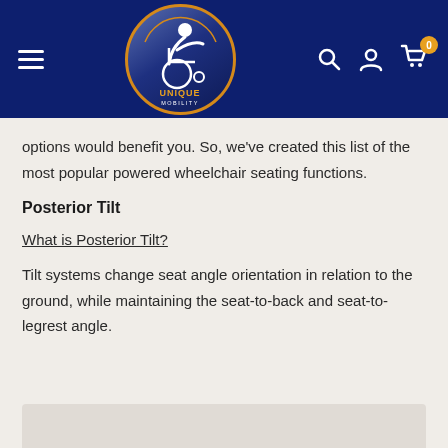[Figure (logo): Unique Mobility logo: wheelchair athlete figure in a circular badge with gold border, blue gradient background, text 'UNIQUE MOBILITY' below figure]
options would benefit you. So, we've created this list of the most popular powered wheelchair seating functions.
Posterior Tilt
What is Posterior Tilt?
Tilt systems change seat angle orientation in relation to the ground, while maintaining the seat-to-back and seat-to-legrest angle.